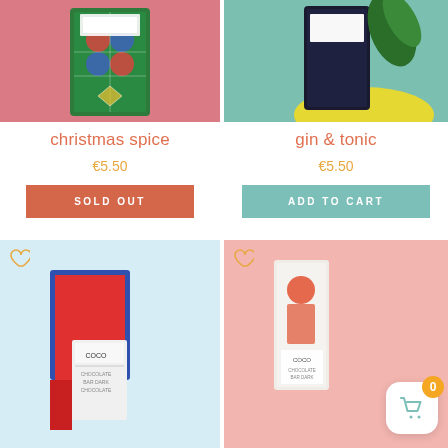[Figure (photo): Chocolate bar with colorful geometric/Christmas pattern on pink background]
[Figure (photo): Chocolate bar with botanical/leaf pattern on teal background with yellow accent]
christmas spice
gin & tonic
€5.50
€5.50
SOLD OUT
ADD TO CART
[Figure (photo): COCO chocolate bar with colorful abstract design on light blue background]
[Figure (photo): COCO chocolate bar on pink/salmon background with cart button overlay showing 0 items]